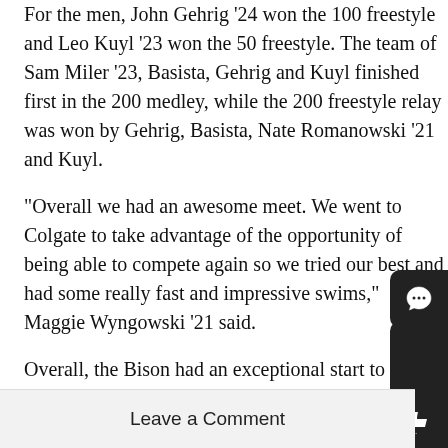For the men, John Gehrig '24 won the 100 freestyle and Leo Kuyl '23 won the 50 freestyle. The team of Sam Miler '23, Basista, Gehrig and Kuyl finished first in the 200 medley, while the 200 freestyle relay was won by Gehrig, Basista, Nate Romanowski '21 and Kuyl.
“Overall we had an awesome meet. We went to Colgate to take advantage of the opportunity of being able to compete again so we tried our best and had some really fast and impressive swims,” Maggie Wyngowski ’21 said.
Overall, the Bison had an exceptional start to their season and will look to carry their success when they travel to West Point to take on Navy on March 20.
(Visited 53 times, 1 visits today)
Leave a Comment